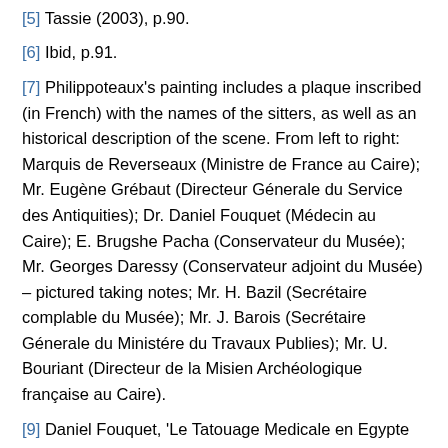[5] Tassie (2003), p.90.
[6] Ibid, p.91.
[7] Philippoteaux's painting includes a plaque inscribed (in French) with the names of the sitters, as well as an historical description of the scene. From left to right: Marquis de Reverseaux (Ministre de France au Caire); Mr. Eugène Grébaut (Directeur Génerale du Service des Antiquities); Dr. Daniel Fouquet (Médecin au Caire); E. Brugshe Pacha (Conservateur du Musée); Mr. Georges Daressy (Conservateur adjoint du Musée) – pictured taking notes; Mr. H. Bazil (Secrétaire complable du Musée); Mr. J. Barois (Secrétaire Génerale du Ministére du Travaux Publies); Mr. U. Bouriant (Directeur de la Misien Archéologique française au Caire).
[9] Daniel Fouquet, 'Le Tatouage Medicale en Egypte...